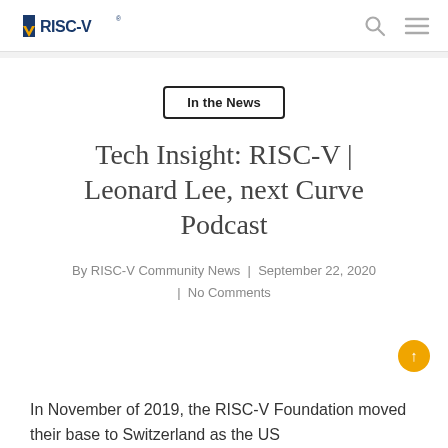RISC-V [logo]
In the News
Tech Insight: RISC-V | Leonard Lee, next Curve Podcast
By RISC-V Community News | September 22, 2020 | No Comments
In November of 2019, the RISC-V Foundation moved their base to Switzerland as the US